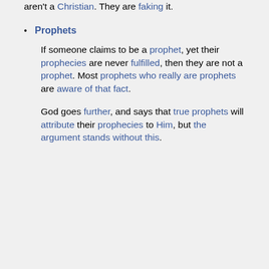aren't a Christian. They are faking it.
Prophets
If someone claims to be a prophet, yet their prophecies are never fulfilled, then they are not a prophet. Most prophets who really are prophets are aware of that fact.
God goes further, and says that true prophets will attribute their prophecies to Him, but the argument stands without this.